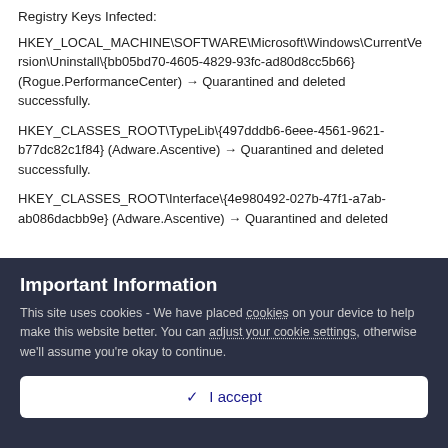Registry Keys Infected:
HKEY_LOCAL_MACHINE\SOFTWARE\Microsoft\Windows\CurrentVersion\Uninstall\{bb05bd70-4605-4829-93fc-ad80d8cc5b66} (Rogue.PerformanceCenter) → Quarantined and deleted successfully.
HKEY_CLASSES_ROOT\TypeLib\{497dddb6-6eee-4561-9621-b77dc82c1f84} (Adware.Ascentive) → Quarantined and deleted successfully.
HKEY_CLASSES_ROOT\Interface\{4e980492-027b-47f1-a7ab-ab086dacbb9e} (Adware.Ascentive) → Quarantined and deleted
Important Information
This site uses cookies - We have placed cookies on your device to help make this website better. You can adjust your cookie settings, otherwise we'll assume you're okay to continue.
✓  I accept